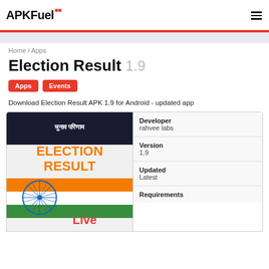APKFuel
Home / Apps
Election Result 1.9
Apps
Events
Download Election Result APK 1.9 for Android - updated app
[Figure (screenshot): Election Result app screenshot showing चुनाव परिणाम (Election Result) in Hindi, with orange ELECTION RESULT text, Indian flag colors, Ashoka Chakra, and Live text at bottom]
| Field | Value |
| --- | --- |
| Developer | rahvee labs |
| Version | 1.9 |
| Updated | Latest |
| Requirements |  |